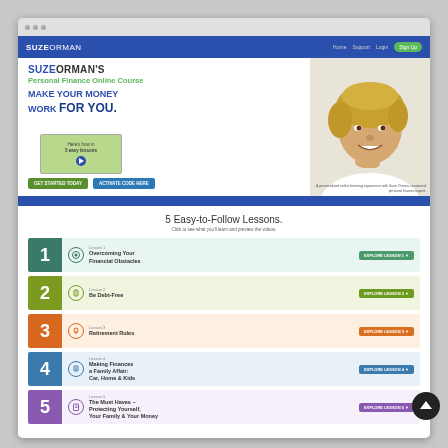[Figure (screenshot): Browser window showing Suze Orman's Personal Finance Online Course website. The page includes a navigation bar with SUZEORMAN logo, a hero section with headline 'MAKE YOUR MONEY WORK FOR YOU', a video thumbnail, GET STARTED TODAY and ACTIVATE CODE HERE buttons, a photo of Suze Orman, a blue divider, and a lessons section titled '5 Easy-to-Follow Lessons' with 5 color-coded lesson rows: 1 Overcoming Your Financial Obstacles (teal), 2 Be Debt-Free (green), 3 Retirement Rules (orange), 4 Making Finances a Family Affair: Car, Home & Kids (blue), 5 The Must Haves - Protecting Yourself, Your Family & Your Money (purple).]